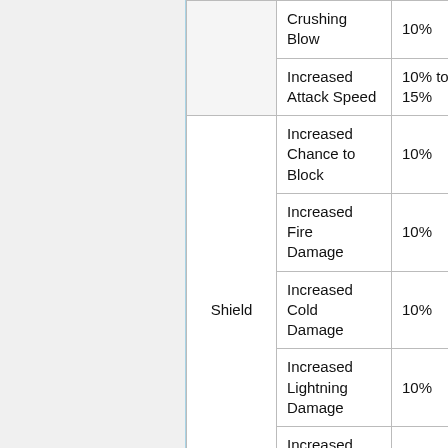| Category | Item | Value |
| --- | --- | --- |
|  | Crushing Blow | 10% |
|  | Increased Attack Speed | 10% to 15% |
| Shield | Increased Chance to Block | 10% |
| Shield | Increased Fire Damage | 10% |
| Shield | Increased Cold Damage | 10% |
| Shield | Increased Lightning Damage | 10% |
| Shield | Increased Poison Damage | 10% |
|  | Pierce | 8% |
|  | Maximum Lightning | 2% |